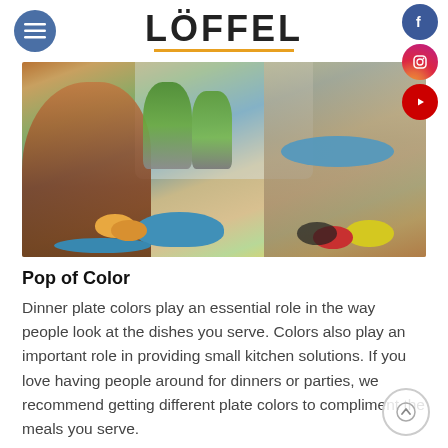LÖFFEL
[Figure (photo): Woman serving food to a child at a kitchen table with colorful bowls of fruit and vegetables, plants in background by bright window]
Pop of Color
Dinner plate colors play an essential role in the way people look at the dishes you serve. Colors also play an important role in providing small kitchen solutions. If you love having people around for dinners or parties, we recommend getting different plate colors to compliment the meals you serve.